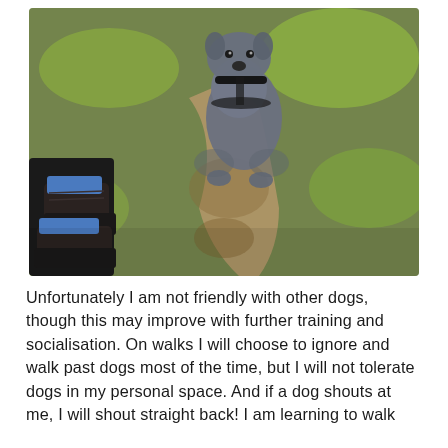[Figure (photo): Overhead view photo of a grey/blue Staffordshire Bull Terrier dog wearing a black collar and harness, standing on patchy grass and dirt path looking up at the camera. At the bottom left of the image are the photographer's feet wearing dark boots with blue socks and black leggings.]
Unfortunately I am not friendly with other dogs, though this may improve with further training and socialisation. On walks I will choose to ignore and walk past dogs most of the time, but I will not tolerate dogs in my personal space. And if a dog shouts at me, I will shout straight back! I am learning to walk